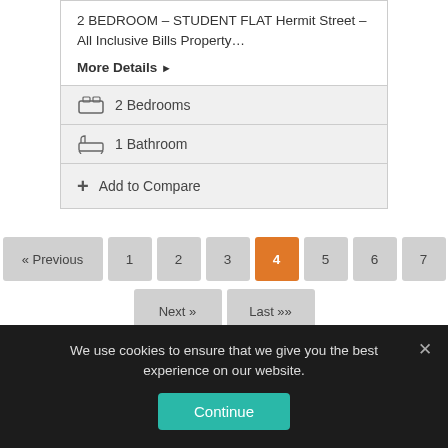2 BEDROOM – STUDENT FLAT Hermit Street – All Inclusive Bills Property…
More Details ▶
2 Bedrooms
1 Bathroom
Add to Compare
« Previous  1  2  3  4  5  6  7  Next »  Last »
We use cookies to ensure that we give you the best experience on our website.
Continue